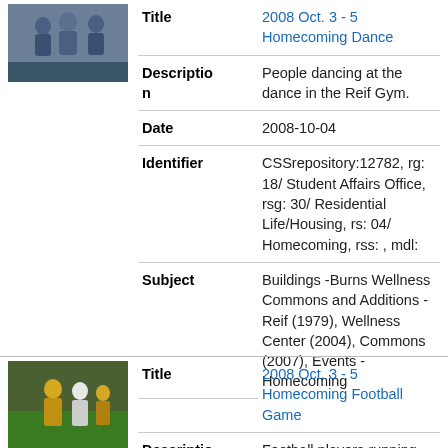[Figure (photo): Thumbnail photo of people at a dance event]
| Field | Value |
| --- | --- |
| Title | 2008 Oct. 3 - 5 Homecoming Dance |
| Description | People dancing at the dance in the Reif Gym. |
| Date | 2008-10-04 |
| Identifier | CSSrepository:12782, rg: 18/ Student Affairs Office, rsg: 30/ Residential Life/Housing, rs: 04/ Homecoming, rss: , mdl: |
| Subject | Buildings -Burns Wellness Commons and Additions - Reif (1979), Wellness Center (2004), Commons (2007), Events - Homecoming |
[Figure (photo): Thumbnail photo of football players during a game]
| Field | Value |
| --- | --- |
| Title | 2008 Oct. 3 - 5 Homecoming Football Game |
| Description | Football players running the ball... |